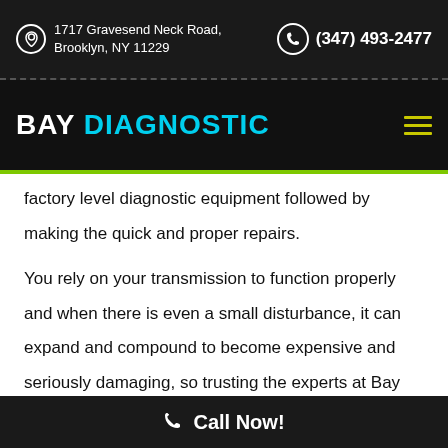1717 Gravesend Neck Road, Brooklyn, NY 11229 | (347) 493-2477
BAY DIAGNOSTIC
factory level diagnostic equipment followed by making the quick and proper repairs.
You rely on your transmission to function properly and when there is even a small disturbance, it can expand and compound to become expensive and seriously damaging, so trusting the experts at Bay Diagnostic with routine service and maintenance appointments that will make sure that everything in the mechatronic system, from the
Call Now!